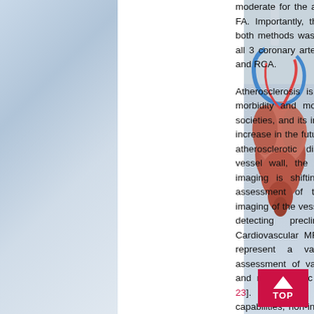moderate for the assessment of FVA and FA. Importantly, the agreement between both methods was found to be similar for all 3 coronary arteries studied: LAD, LCx and RCA.
Atherosclerosis is the leading cause of morbidity and mortality in industrialized societies, and its incidence is projected to increase in the future [1]. Considering that atherosclerotic disease begins in the vessel wall, the field of cardiovascular imaging is shifting its focus from the assessment of the arterial lumen to imaging of the vessel wall, with the goal of detecting preclinical atherosclerosis. Cardiovascular MRI has been shown to represent a valuable tool for the assessment of various ischemic [16-18] and non-ischemic cardiomyopathies [19-23]. Given its high resolution, 3D capabilities, non-invasive nature, absence of ionizing radiation and the capacity for tissue characterization, MRI is emerging as an
[Figure (illustration): Anatomical illustration of the human heart showing coronary arteries, displayed on the right side of the page]